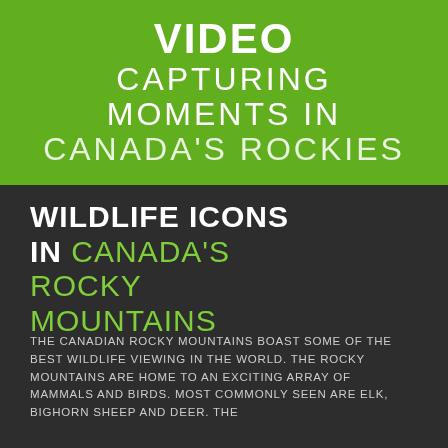VIDEO CAPTURING MOMENTS IN CANADA'S ROCKIES
WILDLIFE ICONS IN CANADA'S ROCKY MOUNTAINS
THE CANADIAN ROCKY MOUNTAINS BOAST SOME OF THE BEST WILDLIFE VIEWING IN THE WORLD. THE ROCKY MOUNTAINS ARE HOME TO AN EXCITING ARRAY OF MAMMALS AND BIRDS. MOST COMMONLY SEEN ARE ELK, BIGHORN SHEEP AND DEER. THE